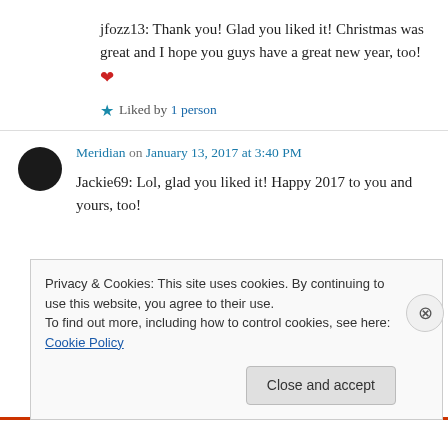jfozz13: Thank you! Glad you liked it! Christmas was great and I hope you guys have a great new year, too! ❤
★ Liked by 1 person
Meridian on January 13, 2017 at 3:40 PM
Jackie69: Lol, glad you liked it! Happy 2017 to you and yours, too!
Privacy & Cookies: This site uses cookies. By continuing to use this website, you agree to their use. To find out more, including how to control cookies, see here: Cookie Policy